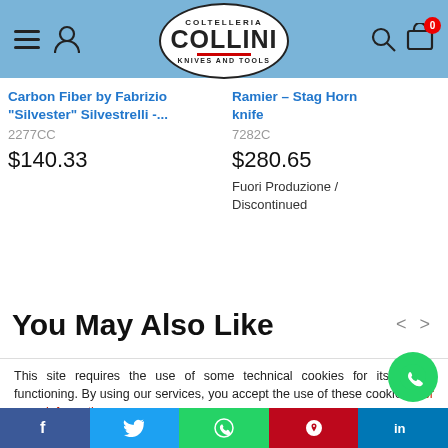Coltelleria Collini - Knives and Tools
Carbon Fiber by Fabrizio "Silvester" Silvestrelli -... 2277CC $140.33
Ramier - Stag Horn knife 7282C $280.65 Fuori Produzione / Discontinued
You May Also Like
This site requires the use of some technical cookies for its proper functioning. By using our services, you accept the use of these cookies. For more information
Settings | Agree